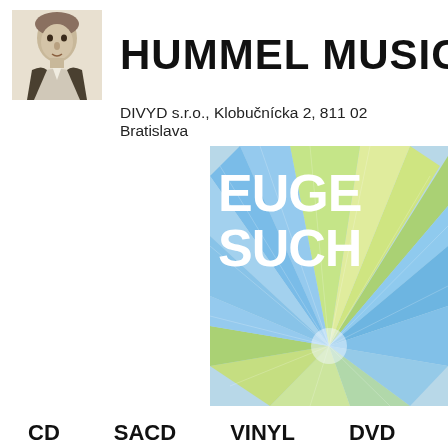[Figure (illustration): Black and white portrait of a classical-era man in coat]
HUMMEL MUSIC
DIVYD s.r.o., Klobučnícka 2, 811 02 Bratislava
[Figure (photo): Album cover for Eugen Suchoň showing a colorful blue/yellow/green radial burst pattern with white bold text 'EUGE...' and 'SUCH...' at top]
CD
SACD
VINYL
DVD
SUVENÍRY
NÁKUPNÉ POUKAZY